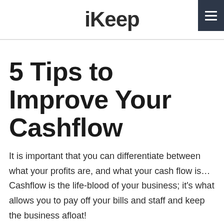iKeep
5 Tips to Improve Your Cashflow
It is important that you can differentiate between what your profits are, and what your cash flow is... Cashflow is the life-blood of your business; it's what allows you to pay off your bills and staff and keep the business afloat!